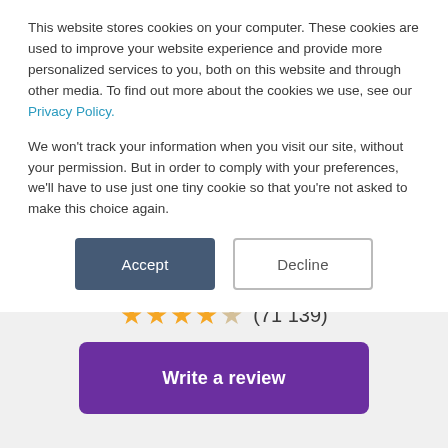This website stores cookies on your computer. These cookies are used to improve your website experience and provide more personalized services to you, both on this website and through other media. To find out more about the cookies we use, see our Privacy Policy.
We won't track your information when you visit our site, without your permission. But in order to comply with your preferences, we'll have to use just one tiny cookie so that you're not asked to make this choice again.
Job Finder
★★★★☆ (71 139)
Write a review